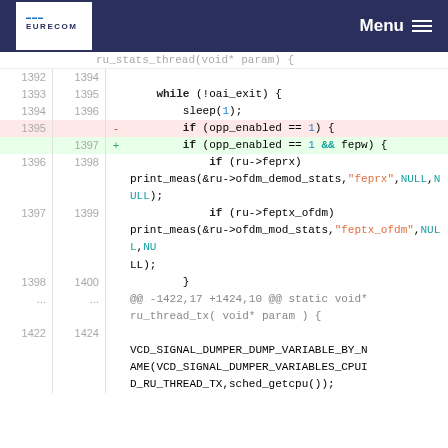EURECOM | Menu
[Figure (screenshot): Code diff view showing C source code changes. Lines 1392-1424 with old and new line numbers. Highlights a deletion (line 1395) and addition (line 1397) changing 'if (opp_enabled == 1)' to 'if (opp_enabled == 1 && fepw)'. Also shows function calls to print_meas with string arguments 'feprx' and 'feptx_ofdm', and a VCD_SIGNAL_DUMPER call. A hunk header @@ -1422,17 +1424,10 @@ static void* ru_thread_tx( void* param ) { is shown.]